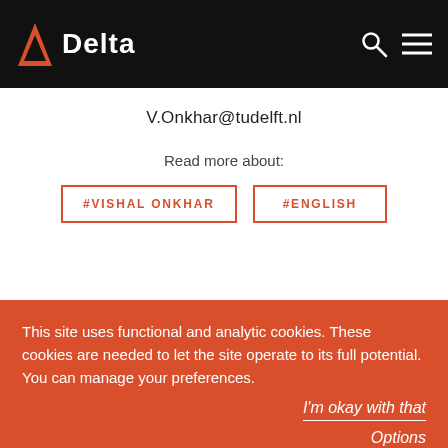Delta
V.Onkhar@tudelft.nl
Read more about:
#VISHAL ONKHAR
#ENGLISH
This site uses functional and analytic cookies. These cookies are needed to let the site operate to its full potential. You can manage your preferences.
I'm okay with that
Options